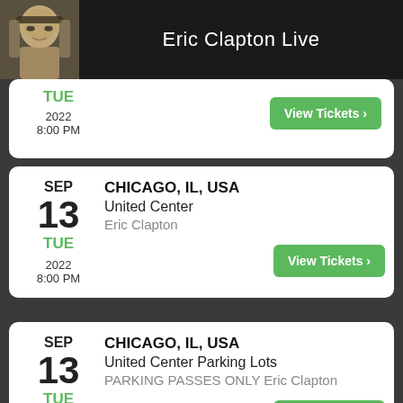Eric Clapton Live
TUE 2022 8:00 PM — View Tickets
CHICAGO, IL, USA United Center Eric Clapton SEP 13 TUE 2022 8:00 PM — View Tickets
CHICAGO, IL, USA United Center Parking Lots PARKING PASSES ONLY Eric Clapton SEP 13 TUE 2022 8:01 PM — View Tickets